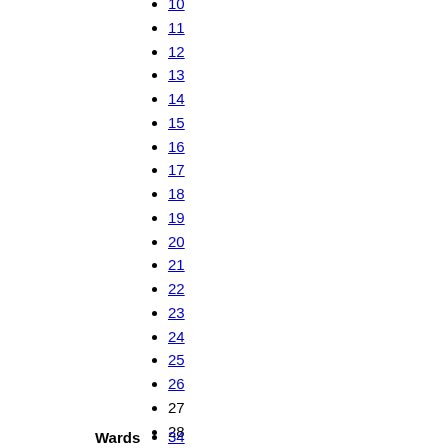10
11
12
13
14
15
16
17
18
19
20
21
22
23
24
25
26
27
28
29
30
31
32
33
Wards
34